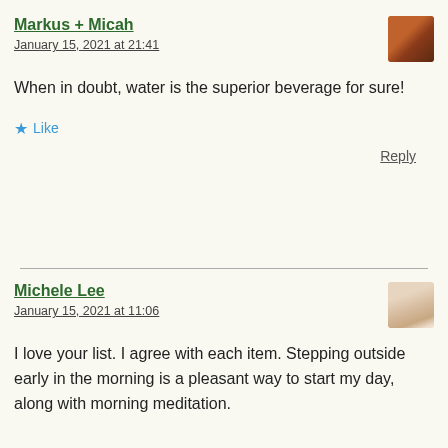Markus + Micah
January 15, 2021 at 21:41
When in doubt, water is the superior beverage for sure!
Like
Reply
Michele Lee
January 15, 2021 at 11:06
I love your list. I agree with each item. Stepping outside early in the morning is a pleasant way to start my day, along with morning meditation.